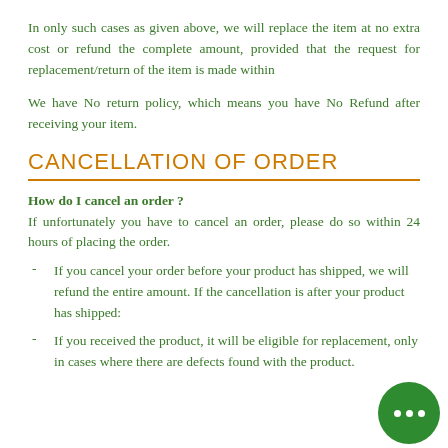In only such cases as given above, we will replace the item at no extra cost or refund the complete amount, provided that the request for replacement/return of the item is made within
We have No return policy, which means you have No Refund after receiving your item.
CANCELLATION OF ORDER
How do I cancel an order ?
If unfortunately you have to cancel an order, please do so within 24 hours of placing the order.
- If you cancel your order before your product has shipped, we will refund the entire amount. If the cancellation is after your product has shipped:
- If you received the product, it will be eligible for replacement, only in cases where there are defects found with the product.